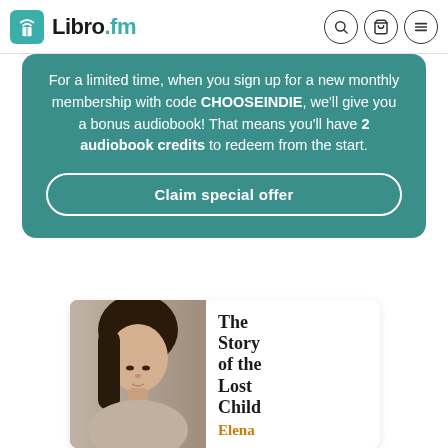Libro.fm
For a limited time, when you sign up for a new monthly membership with code CHOOSEINDIE, we'll give you a bonus audiobook! That means you'll have 2 audiobook credits to redeem from the start.
Claim special offer
[Figure (photo): Book cover of 'The Story of the Lost Child' by Elena — shows a young woman with dark hair looking downward, black and white photo on the left half; bold serif title text on the right half with author name 'Elena' in orange/gold at bottom]